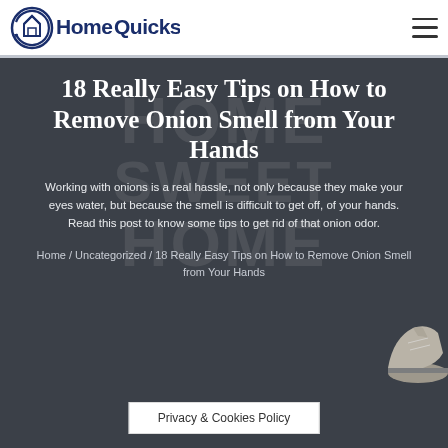HomeQuicks
[Figure (screenshot): Dark gray hero banner with faint HOME SWEET HOME watermark text and a partial sneaker visible in the bottom right. White bold title, subtitle, and breadcrumb text overlaid.]
18 Really Easy Tips on How to Remove Onion Smell from Your Hands
Working with onions is a real hassle, not only because they make your eyes water, but because the smell is difficult to get off, of your hands. Read this post to know some tips to get rid of that onion odor.
Home / Uncategorized / 18 Really Easy Tips on How to Remove Onion Smell from Your Hands
Privacy & Cookies Policy